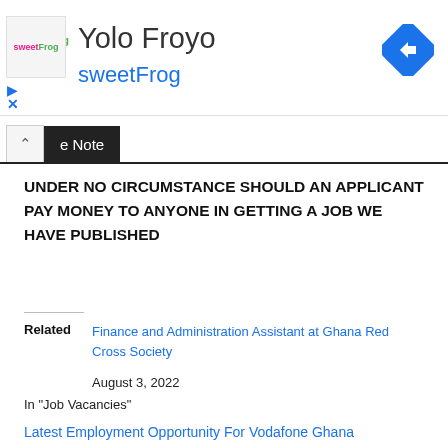[Figure (logo): sweetFrog frozen yogurt brand advertisement banner with logo, text 'Yolo Froyo', 'sweetFrog', navigation icons, and a blue diamond direction arrow icon]
e Note
UNDER NO CIRCUMSTANCE SHOULD AN APPLICANT PAY MONEY TO ANYONE IN GETTING A JOB WE HAVE PUBLISHED
Finance and Administration Assistant at Ghana Red Cross Society
August 3, 2022
In "Job Vacancies"
Latest Employment Opportunity For Vodafone Ghana